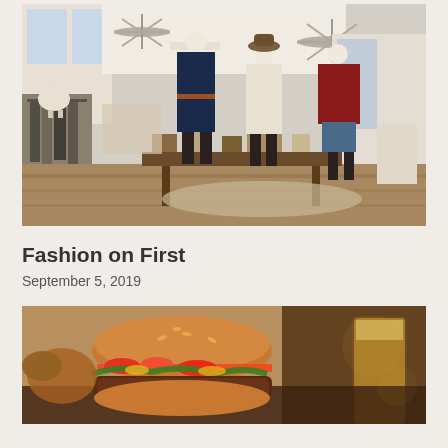[Figure (photo): Interior of a fashion boutique with mannequins wearing clothing, accessories on a table, and clothing racks in the background]
Fashion on First
September 5, 2019
[Figure (photo): Close-up photo of a gourmet burger with toppings and a glass of beer in the background]